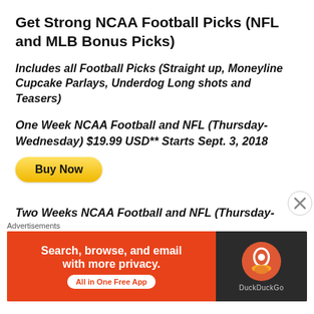Get Strong NCAA Football Picks (NFL and MLB Bonus Picks)
Includes all Football Picks (Straight up, Moneyline Cupcake Parlays, Underdog Long shots and Teasers)
One Week NCAA Football and NFL (Thursday-Wednesday) $19.99 USD** Starts Sept. 3, 2018
[Figure (other): Buy Now button (yellow/gold pill-shaped button)]
Two Weeks NCAA Football and NFL (Thursday-Wednesday) $34.99 USD**
[Figure (other): Buy Now button (yellow/gold pill-shaped button)]
Four Weeks NCAA Football and NFL (Thursday-
Advertisements
[Figure (other): DuckDuckGo advertisement banner: 'Search, browse, and email with more privacy. All in One Free App' on orange background with DuckDuckGo logo on dark background]